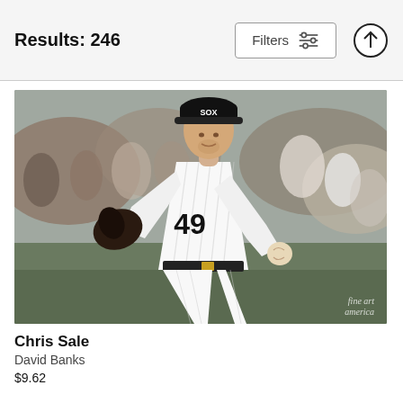Results: 246
[Figure (photo): Baseball pitcher in white pinstripe Chicago White Sox uniform with number 49, wearing black glove and cap with White Sox logo, in mid-pitch delivery. Crowd visible in background. Watermark: fine art america]
Chris Sale
David Banks
$9.62